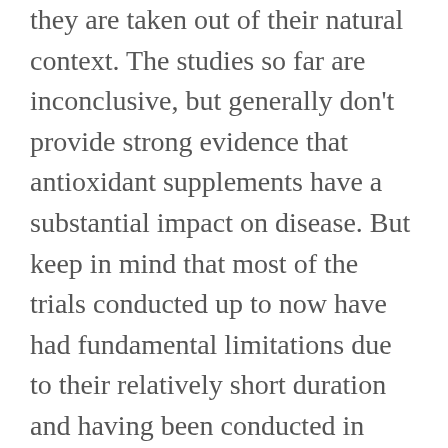they are taken out of their natural context. The studies so far are inconclusive, but generally don't provide strong evidence that antioxidant supplements have a substantial impact on disease. But keep in mind that most of the trials conducted up to now have had fundamental limitations due to their relatively short duration and having been conducted in persons with existing disease. That a benefit of beta-carotene on cognitive function was seen in the Physicians' Health Follow-up Study only after 18 years of follow-up is [English selector] other trial has